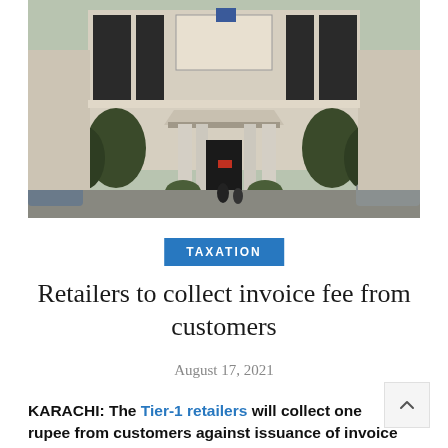[Figure (photo): Exterior facade of a large government or institutional building with columns, a covered entrance canopy, large dark-framed windows, and trees on either side. Cars are parked in the foreground.]
TAXATION
Retailers to collect invoice fee from customers
August 17, 2021
KARACHI: The Tier-1 retailers will collect one rupee from customers against issuance of invoice